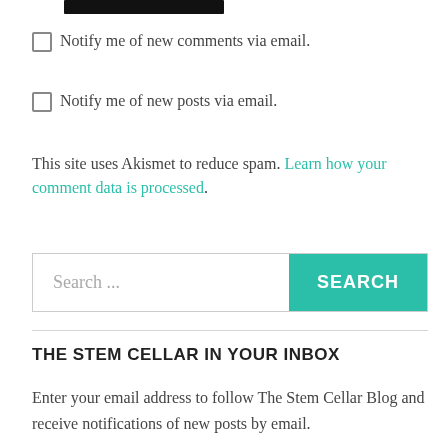[Figure (other): Black bar/button at top of page]
Notify me of new comments via email.
Notify me of new posts via email.
This site uses Akismet to reduce spam. Learn how your comment data is processed.
Search ...
THE STEM CELLAR IN YOUR INBOX
Enter your email address to follow The Stem Cellar Blog and receive notifications of new posts by email.